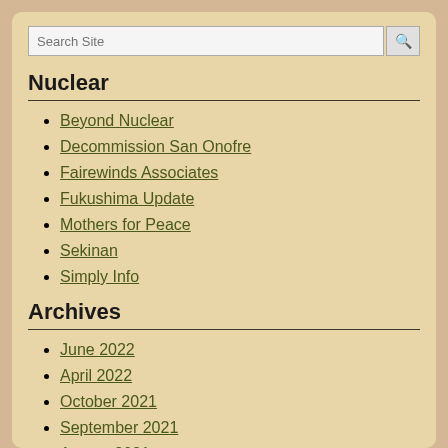Nuclear
Beyond Nuclear
Decommission San Onofre
Fairewinds Associates
Fukushima Update
Mothers for Peace
Sekinan
Simply Info
Archives
June 2022
April 2022
October 2021
September 2021
August 2021
July 2021
June 2021
May 2021